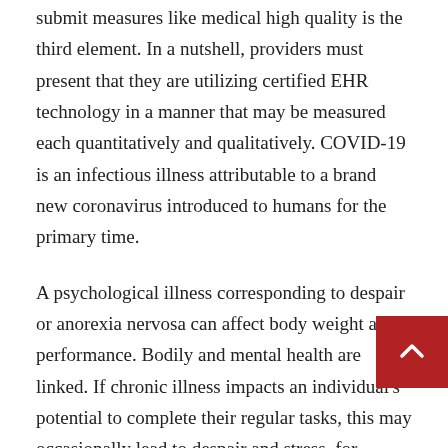submit measures like medical high quality is the third element. In a nutshell, providers must present that they are utilizing certified EHR technology in a manner that may be measured each quantitatively and qualitatively. COVID-19 is an infectious illness attributable to a brand new coronavirus introduced to humans for the primary time.
A psychological illness corresponding to despair or anorexia nervosa can affect body weight and performance. Bodily and mental health are linked. If chronic illness impacts an individual's potential to complete their regular tasks, this may occasionally lead to despair and stress, for instance, as a result of cash issues. While studying a new instrument does take and commitment, you can be stunned at how a lot progress you can make in a short period of time. Learning